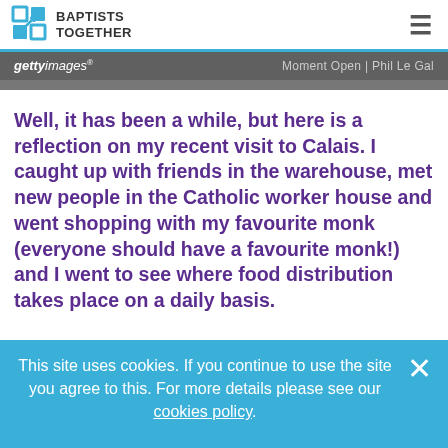BAPTISTS TOGETHER
[Figure (screenshot): Getty Images watermark bar with text: gettyimages® | Moment Open | Phil Le Gal]
Well, it has been a while, but here is a reflection on my recent visit to Calais. I caught up with friends in the warehouse, met new people in the Catholic worker house and went shopping with my favourite monk (everyone should have a favourite monk!) and I went to see where food distribution takes place on a daily basis.
This site uses cookies. If you continue to use the site you agree to this. For more details please see our cookies policy.